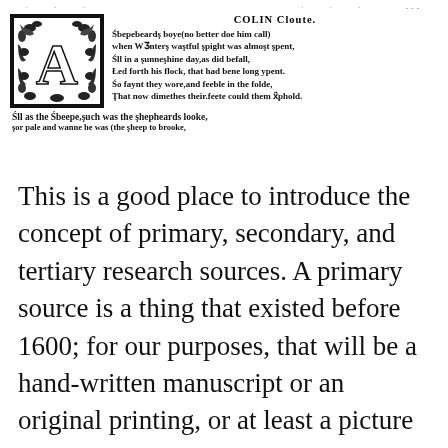· · · · · · · · · · · · · · · ·
[Figure (illustration): Decorative woodcut initial letter 'A' with floral/vine ornamental border, typical of 16th century printing style.]
COLIN Cloute.
Sheepheards boye(no better doe him call)
when Winters wastful spight was almost spent,
All in a sunneshine day,as did befall,
Led forth his flock, that had bene long ypent.
So faynt they wore, and feeble in the folde,
That now dimethes their feete could them vphold.
All as the Sheepe,such was the shepheards looke,
For pale and wanne he was (the sheep to brooke,
This is a good place to introduce the concept of primary, secondary, and tertiary research sources. A primary source is a thing that existed before 1600; for our purposes, that will be a hand-written manuscript or an original printing, or at least a picture of it. There are many museums and libraries that have made items from their collections available